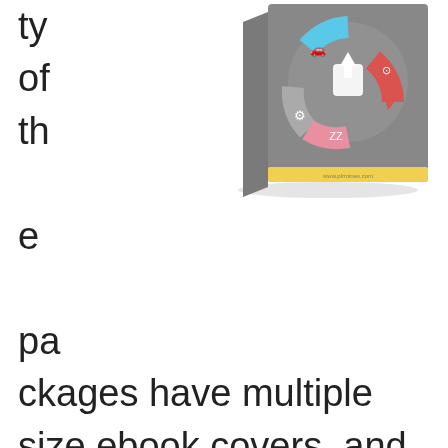[Figure (illustration): 3D ebook cover with gray background, colorful circular arrows icons (car, camera, gear, sleep ZZ symbols), yellow bottom strip with www.plrmines.com text]
ty of the packages have multiple size ebook covers, and some include the PSD files for those of you who want to change the covers using Photoshop.